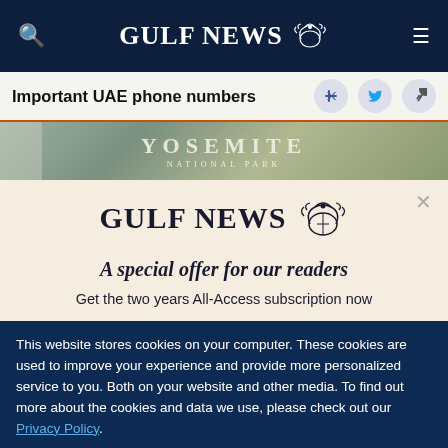GULF NEWS
Important UAE phone numbers
[Figure (photo): Yosemite National Park image banner]
[Figure (logo): Gulf News eagle logo with text]
A special offer for our readers
Get the two years All-Access subscription now
This website stores cookies on your computer. These cookies are used to improve your experience and provide more personalized service to you. Both on your website and other media. To find out more about the cookies and data we use, please check out our Privacy Policy.